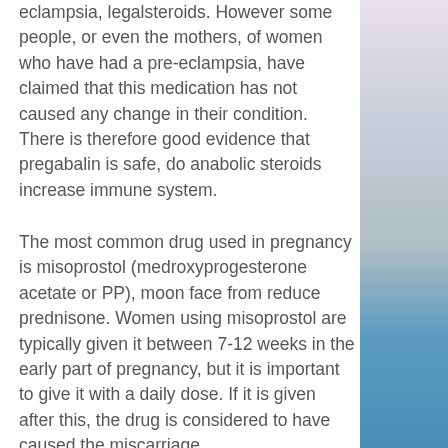eclampsia, legalsteroids. However some people, or even the mothers, of women who have had a pre-eclampsia, have claimed that this medication has not caused any change in their condition. There is therefore good evidence that pregabalin is safe, do anabolic steroids increase immune system.
The most common drug used in pregnancy is misoprostol (medroxyprogesterone acetate or PP), moon face from reduce prednisone. Women using misoprostol are typically given it between 7-12 weeks in the early part of pregnancy, but it is important to give it with a daily dose. If it is given after this, the drug is considered to have caused the miscarriage.
Besides, it is easy to get legal steroids in South Africa since it is only available via